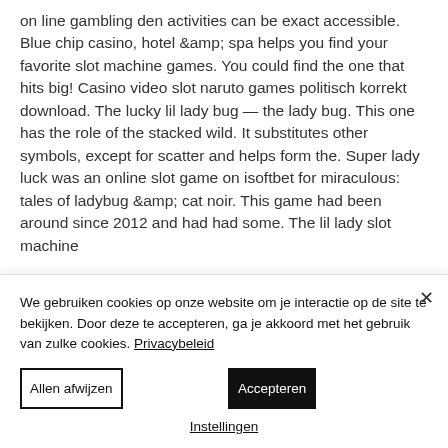on line gambling den activities can be exact accessible. Blue chip casino, hotel &amp; spa helps you find your favorite slot machine games. You could find the one that hits big! Casino video slot naruto games politisch korrekt download. The lucky lil lady bug — the lady bug. This one has the role of the stacked wild. It substitutes other symbols, except for scatter and helps form the. Super lady luck was an online slot game on isoftbet for miraculous: tales of ladybug &amp; cat noir. This game had been around since 2012 and had had some. The lil lady slot machine
We gebruiken cookies op onze website om je interactie op de site te bekijken. Door deze te accepteren, ga je akkoord met het gebruik van zulke cookies. Privacybeleid
Allen afwijzen
Accepteren
Instellingen